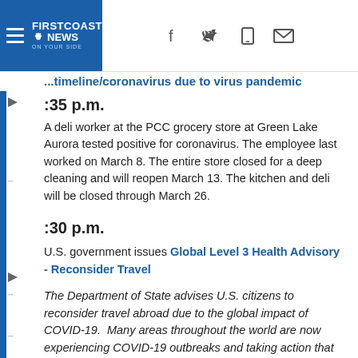FIRST COAST NEWS — On Your Side
...timeline/coronavirus due to virus pandemic
:35 p.m.
A deli worker at the PCC grocery store at Green Lake Aurora tested positive for coronavirus. The employee last worked on March 8. The entire store closed for a deep cleaning and will reopen March 13. The kitchen and deli will be closed through March 26.
:30 p.m.
U.S. government issues Global Level 3 Health Advisory - Reconsider Travel
The Department of State advises U.S. citizens to reconsider travel abroad due to the global impact of COVID-19.  Many areas throughout the world are now experiencing COVID-19 outbreaks and taking action that may limit traveler mobility, including quarantines and border restrictions. For countries that already...